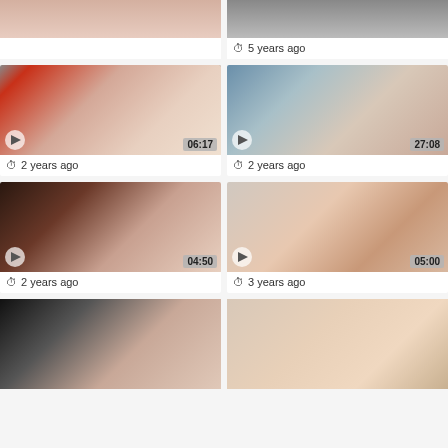[Figure (screenshot): Video thumbnail grid showing 8 video thumbnails in a 2-column layout. Top row shows two partial thumbnails with one having '5 years ago' label. Second row shows two videos with durations 06:17 and 27:08, both '2 years ago'. Third row shows videos with durations 04:50 and 05:00, '2 years ago' and '3 years ago'. Bottom row shows two partial thumbnails without timestamps visible.]